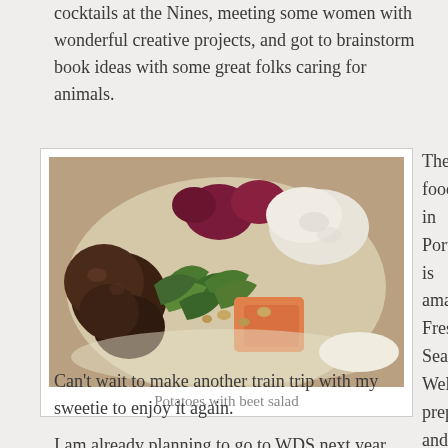cocktails at the Nines, meeting some women with wonderful creative projects, and got to brainstorm book ideas with some great folks caring for animals.
[Figure (photo): A plate of food showing potatoes with beet salad, arugula greens, and what appears to be ricotta or burrata cheese]
Potatoes with beet salad
The food in Portland is amazing. Fresh. Seasonal. Well prepared and delicious. Can't wait to make another train trip with my sweetie to enjoy it again.
I am already planning to go to WDS next year, and am